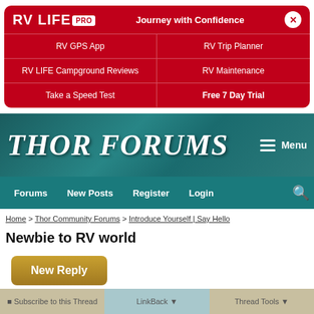[Figure (screenshot): RV LIFE PRO banner with navigation links: RV GPS App, RV Trip Planner, RV LIFE Campground Reviews, RV Maintenance, Take a Speed Test, Free 7 Day Trial]
[Figure (screenshot): Thor Forums website header with teal background, THOR FORUMS logo, and Menu button]
Forums | New Posts | Register | Login
Home > Thor Community Forums > Introduce Yourself | Say Hello
Newbie to RV world
New Reply
Page 1 of 2  Next >
Subscribe to this Thread  LinkBack  Thread Tools